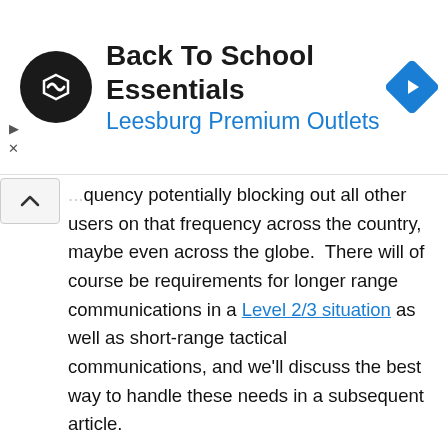[Figure (infographic): Advertisement banner for 'Back To School Essentials' at Leesburg Premium Outlets. Black circular logo with double arrow icon on left, large text title on center, blue navigation diamond icon on right. Small play and X buttons on far left.]
...quency potentially blocking out all other users on that frequency across the country, maybe even across the globe.  There will of course be requirements for longer range communications in a Level 2/3 situation as well as short-range tactical communications, and we'll discuss the best way to handle these needs in a subsequent article.
The massive increase in the number of hams suddenly wanting to use their radios will make for very busy/congested airwaves, and just like a busy freeway ends up carrying fewer cars because the traffic starts to slow down, making the situation worse; the congestion on the radio waves will make things very difficult, with lots of people transmitting over the top of other people, causing